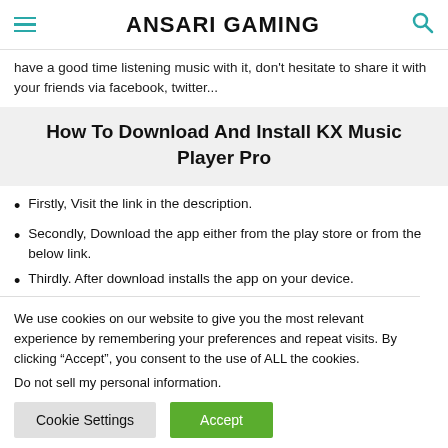ANSARI GAMING
have a good time listening music with it, don't hesitate to share it with your friends via facebook, twitter...
How To Download And Install KX Music Player Pro
Firstly, Visit the link in the description.
Secondly, Download the app either from the play store or from the below link.
Thirdly. After download installs the app on your device.
We use cookies on our website to give you the most relevant experience by remembering your preferences and repeat visits. By clicking “Accept”, you consent to the use of ALL the cookies.
Do not sell my personal information.